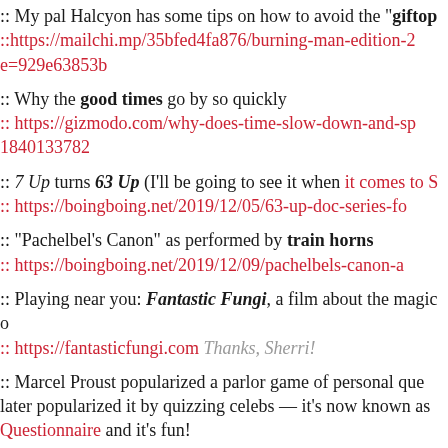:: My pal Halcyon has some tips on how to avoid the "giftop :: https://mailchi.mp/35bfed4fa876/burning-man-edition-2 e=929e63853b
:: Why the good times go by so quickly :: https://gizmodo.com/why-does-time-slow-down-and-sp 1840133782
:: 7 Up turns 63 Up (I'll be going to see it when it comes to S :: https://boingboing.net/2019/12/05/63-up-doc-series-fo
:: "Pachelbel's Canon" as performed by train horns :: https://boingboing.net/2019/12/09/pachelbels-canon-a
:: Playing near you: Fantastic Fungi, a film about the magic o :: https://fantasticfungi.com Thanks, Sherri!
:: Marcel Proust popularized a parlor game of personal que later popularized it by quizzing celebs — it's now known as Questionnaire and it's fun! :: https://www.writingclasses.com/toolbox/character-ques
:: Five-hour long Darth Vader "Yule Log" :: https://youtu.be/PVJzibVS2YM Thanks, Maggie!